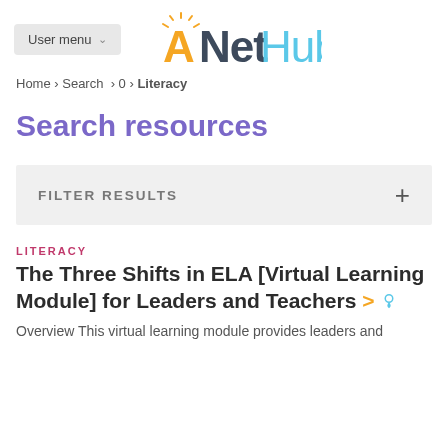User menu  ANetHub
Home › Search › 0 › Literacy
Search resources
FILTER RESULTS +
LITERACY
The Three Shifts in ELA [Virtual Learning Module] for Leaders and Teachers > 📍
Overview This virtual learning module provides leaders and